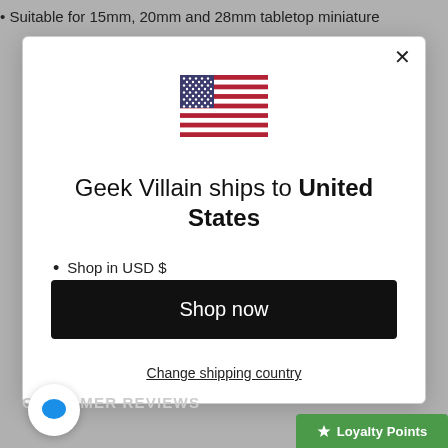Suitable for 15mm, 20mm and 28mm tabletop miniature
[Figure (illustration): US flag emoji]
Geek Villain ships to United States
Shop in USD $
Get shipping options for United States
Shop now
Change shipping country